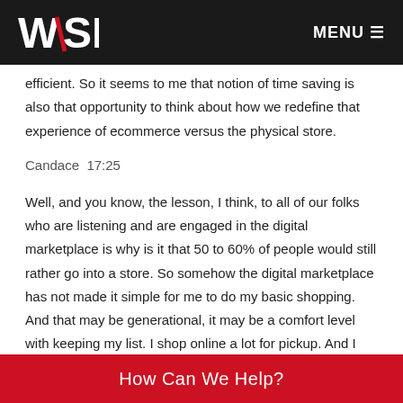WSL | MENU
efficient. So it seems to me that notion of time saving is also that opportunity to think about how we redefine that experience of ecommerce versus the physical store.
Candace  17:25
Well, and you know, the lesson, I think, to all of our folks who are listening and are engaged in the digital marketplace is why is it that 50 to 60% of people would still rather go into a store. So somehow the digital marketplace has not made it simple for me to do my basic shopping. And that may be generational, it may be a comfort level with keeping my list. I shop online a lot for pickup. And I think the retailers have done a great job of reminding me what I bought last time and suggesting it again.
How Can We Help?